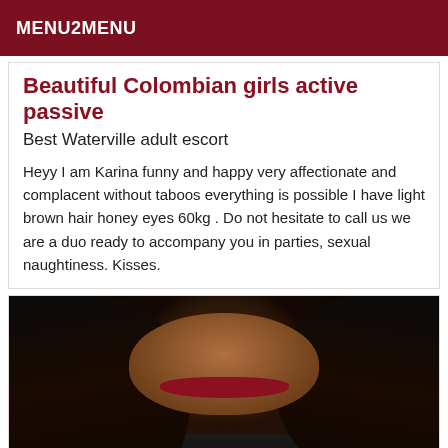MENU2MENU
Beautiful Colombian girls active passive
Best Waterville adult escort
Heyy I am Karina funny and happy very affectionate and complacent without taboos everything is possible I have light brown hair honey eyes 60kg . Do not hesitate to call us we are a duo ready to accompany you in parties, sexual naughtiness. Kisses.
[Figure (photo): Portrait photo of a young woman with long black hair, dark complexion, wearing a black fur-collar jacket, outdoors with greenery in background]